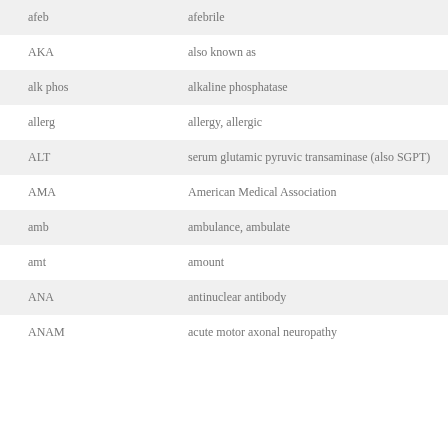| Abbreviation | Meaning |
| --- | --- |
| afeb | afebrile |
| AKA | also known as |
| alk phos | alkaline phosphatase |
| allerg | allergy, allergic |
| ALT | serum glutamic pyruvic transaminase (also SGPT) |
| AMA | American Medical Association |
| amb | ambulance, ambulate |
| amt | amount |
| ANA | antinuclear antibody |
| ANAM | acute motor axonal neuropathy |